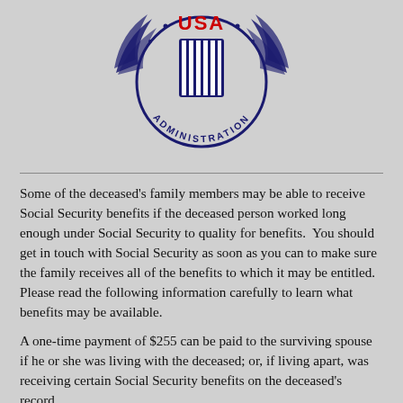[Figure (logo): Social Security Administration USA seal/logo with eagle wings at top, vertical stripes shield in center, 'USA' in red text, and 'ADMINISTRATION' curved around the bottom]
Some of the deceased's family members may be able to receive Social Security benefits if the deceased person worked long enough under Social Security to quality for benefits.  You should get in touch with Social Security as soon as you can to make sure the family receives all of the benefits to which it may be entitled.  Please read the following information carefully to learn what benefits may be available.
A one-time payment of $255 can be paid to the surviving spouse if he or she was living with the deceased; or, if living apart, was receiving certain Social Security benefits on the deceased's record.